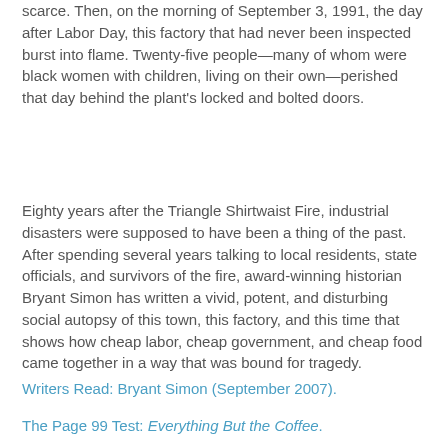scarce. Then, on the morning of September 3, 1991, the day after Labor Day, this factory that had never been inspected burst into flame. Twenty-five people—many of whom were black women with children, living on their own—perished that day behind the plant's locked and bolted doors.
Eighty years after the Triangle Shirtwaist Fire, industrial disasters were supposed to have been a thing of the past. After spending several years talking to local residents, state officials, and survivors of the fire, award-winning historian Bryant Simon has written a vivid, potent, and disturbing social autopsy of this town, this factory, and this time that shows how cheap labor, cheap government, and cheap food came together in a way that was bound for tragedy.
Writers Read: Bryant Simon (September 2007).
The Page 99 Test: Everything But the Coffee.